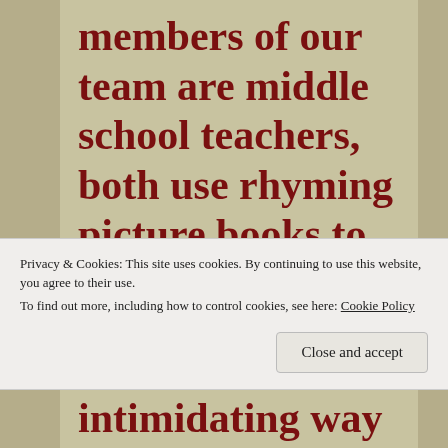members of our team are middle school teachers, both use rhyming picture books to reacquaint their older students to meter, rhythm, and rhyme prior to
Privacy & Cookies: This site uses cookies. By continuing to use this website, you agree to their use.
To find out more, including how to control cookies, see here: Cookie Policy
Close and accept
intimidating way to